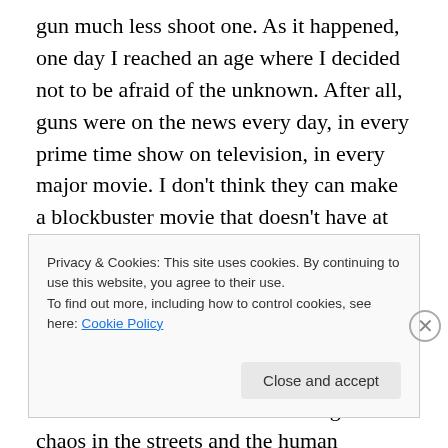gun much less shoot one. As it happened, one day I reached an age where I decided not to be afraid of the unknown. After all, guns were on the news every day, in every prime time show on television, in every major movie. I don't think they can make a blockbuster movie that doesn't have at least one woman and one gun in it. It was one of those movies that got me thinking seriously about getting a gun. No, it wasn't a cops and robbers movie, or an international spy movie that did it, it was a movie about a world event leading to chaos in the streets and the human response.
Privacy & Cookies: This site uses cookies. By continuing to use this website, you agree to their use.
To find out more, including how to control cookies, see here: Cookie Policy